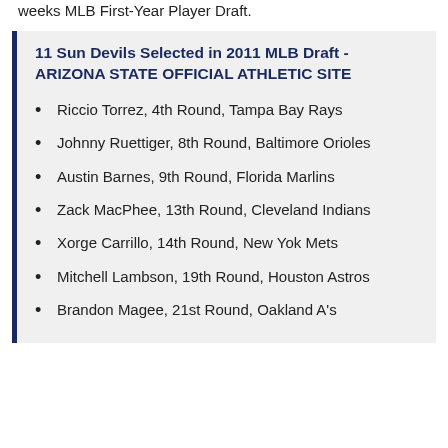weeks MLB First-Year Player Draft.
11 Sun Devils Selected in 2011 MLB Draft - ARIZONA STATE OFFICIAL ATHLETIC SITE
Riccio Torrez, 4th Round, Tampa Bay Rays
Johnny Ruettiger, 8th Round, Baltimore Orioles
Austin Barnes, 9th Round, Florida Marlins
Zack MacPhee, 13th Round, Cleveland Indians
Xorge Carrillo, 14th Round, New Yok Mets
Mitchell Lambson, 19th Round, Houston Astros
Brandon Magee, 21st Round, Oakland A's